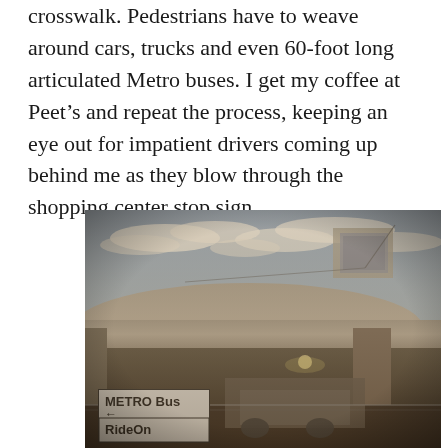crosswalk. Pedestrians have to weave around cars, trucks and even 60-foot long articulated Metro buses. I get my coffee at Peet's and repeat the process, keeping an eye out for impatient drivers coming up behind me as they blow through the shopping center stop sign.
[Figure (photo): Photograph of a concrete parking structure or overpass with a curved ramp, shot from below. A METRO Bus RideOn sign is visible in the foreground along with construction equipment and fencing. The image has a warm sepia/vintage filter applied.]